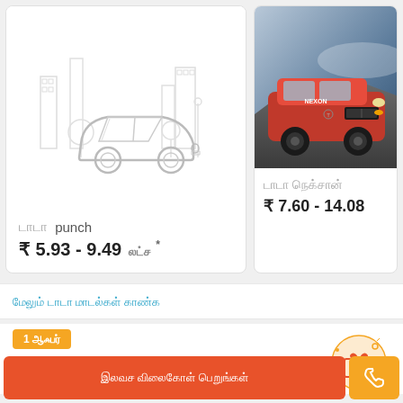[Figure (illustration): White card showing line art illustration of a sedan car with cityscape background]
டாடா punch
₹5.93 - 9.49 லட்ச *
[Figure (photo): Photo of a red Tata Nexon SUV on rocky terrain]
டாடா நெக்சான்
₹7.60 - 14.08
மேலும் டாடா மாடல்கள் காண்க
1 ஆஃபர்
Buy Now மூலம் Alrtoz மூலம் Get
இலவச விலைகோள் பெறுங்கள்
[Figure (illustration): Orange offer icon with gift/coupon design]